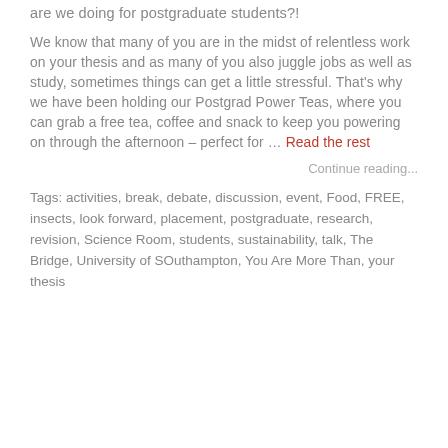are we doing for postgraduate students?!
We know that many of you are in the midst of relentless work on your thesis and as many of you also juggle jobs as well as study, sometimes things can get a little stressful. That's why we have been holding our Postgrad Power Teas, where you can grab a free tea, coffee and snack to keep you powering on through the afternoon – perfect for … Read the rest
Continue reading...
Tags: activities, break, debate, discussion, event, Food, FREE, insects, look forward, placement, postgraduate, research, revision, Science Room, students, sustainability, talk, The Bridge, University of SOuthampton, You Are More Than, your thesis